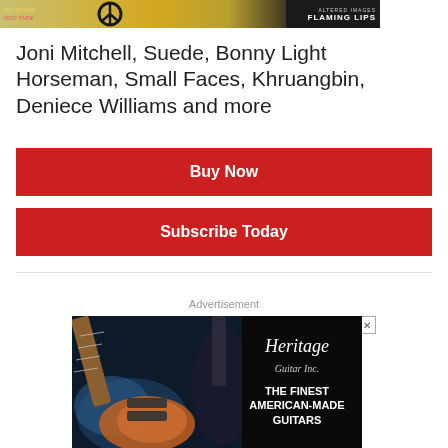[Figure (illustration): Top banner showing album art with yellow/gold design featuring peace symbol, dark section on right with text FLAMING LIPS in white bold letters]
Joni Mitchell, Suede, Bonny Light Horseman, Small Faces, Khruangbin, Deniece Williams and more
Buy Now
Subscribe Today
Advertisement
[Figure (photo): Heritage Guitar Inc advertisement showing electric guitars in cases on the left, Heritage Guitar Inc logo in cursive script, and text THE FINEST AMERICAN-MADE GUITARS on black background]